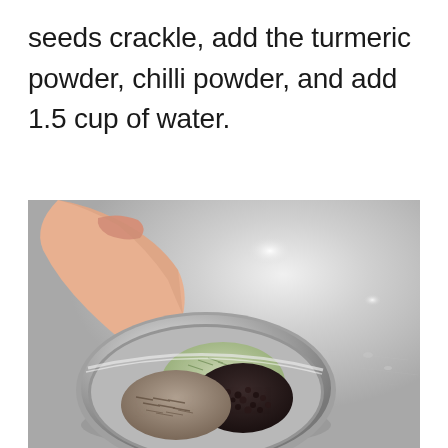seeds crackle, add the turmeric powder, chilli powder, and add 1.5 cup of water.
[Figure (photo): A hand holding a small round silver bowl containing mixed whole spices — fennel seeds, black mustard seeds, and cumin seeds — over a shiny silver metallic surface with light reflections.]